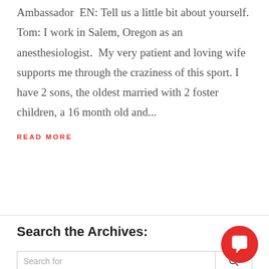Ambassador  EN: Tell us a little bit about yourself.  Tom: I work in Salem, Oregon as an anesthesiologist.  My very patient and loving wife supports me through the craziness of this sport. I have 2 sons, the oldest married with 2 foster children, a 16 month old and...
READ MORE
Search the Archives:
Search for...